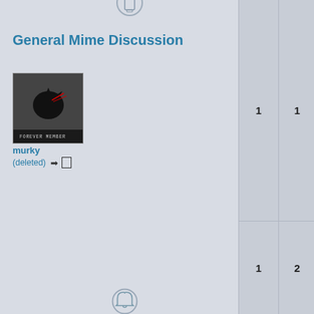[Figure (other): Forum icon at top (partial, bell/envelope shape in circle)]
General Mime Discussion
[Figure (photo): Avatar image of murky (deleted) user - dark bird/raven image with 'FOREVER MEMBER' badge]
murky
(deleted) →□
1
1
[Figure (other): Forum bell icon in circle (middle of page)]
Introduce Yourself
[Figure (photo): Avatar image for gilravadry - dark photo with CLICK HERE and SECRET PHOTO banners]
gilravadry
→□
1
2